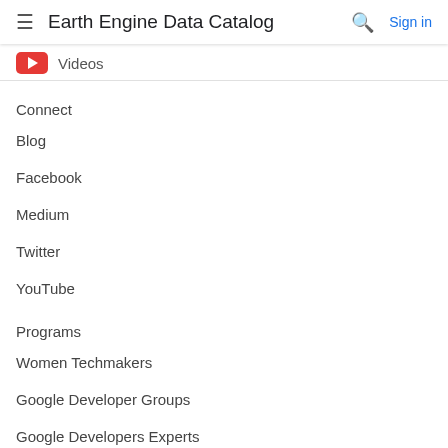Earth Engine Data Catalog  Sign in
Videos
Connect
Blog
Facebook
Medium
Twitter
YouTube
Programs
Women Techmakers
Google Developer Groups
Google Developers Experts